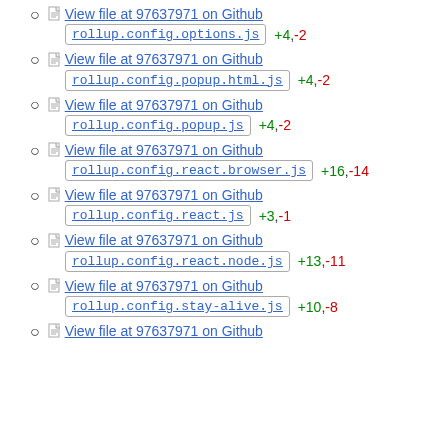View file at 97637971 on Github | rollup.config.options.js +4, -2
View file at 97637971 on Github | rollup.config.popup.html.js +4, -2
View file at 97637971 on Github | rollup.config.popup.js +4, -2
View file at 97637971 on Github | rollup.config.react.browser.js +16, -14
View file at 97637971 on Github | rollup.config.react.js +3, -1
View file at 97637971 on Github | rollup.config.react.node.js +13, -11
View file at 97637971 on Github | rollup.config.stay-alive.js +10, -8
View file at 97637971 on Github